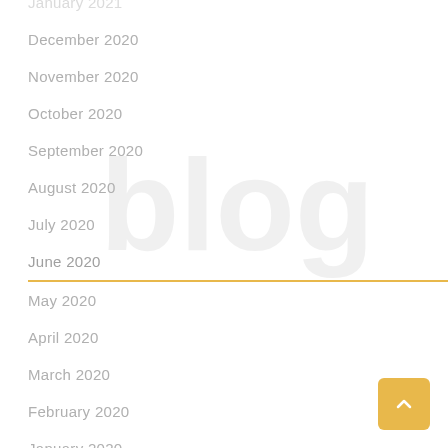December 2020
November 2020
October 2020
September 2020
August 2020
July 2020
June 2020
May 2020
April 2020
March 2020
February 2020
January 2020
December 2019